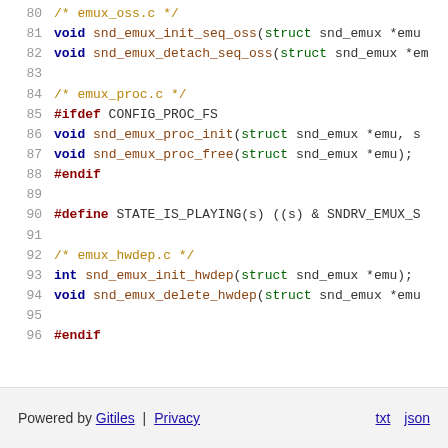80  /* emux_oss.c */
81  void snd_emux_init_seq_oss(struct snd_emux *emu
82  void snd_emux_detach_seq_oss(struct snd_emux *em
83
84  /* emux_proc.c */
85  #ifdef CONFIG_PROC_FS
86  void snd_emux_proc_init(struct snd_emux *emu, s
87  void snd_emux_proc_free(struct snd_emux *emu);
88  #endif
89
90  #define STATE_IS_PLAYING(s) ((s) & SNDRV_EMUX_S
91
92  /* emux_hwdep.c */
93  int snd_emux_init_hwdep(struct snd_emux *emu);
94  void snd_emux_delete_hwdep(struct snd_emux *emu
95
96  #endif
Powered by Gitiles | Privacy    txt  json